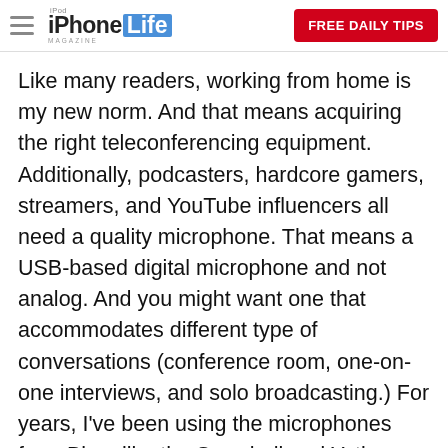iPhone Life Magazine — FREE DAILY TIPS
Like many readers, working from home is my new norm. And that means acquiring the right teleconferencing equipment. Additionally, podcasters, hardcore gamers, streamers, and YouTube influencers all need a quality microphone. That means a USB-based digital microphone and not analog. And you might want one that accommodates different type of conversations (conference room, one-on-one interviews, and solo broadcasting.) For years, I've been using the microphones from Blue, like the Snowball and Yeti. Recently, Logitech, which owns Blue, let me try its higher-end model, the Yeti